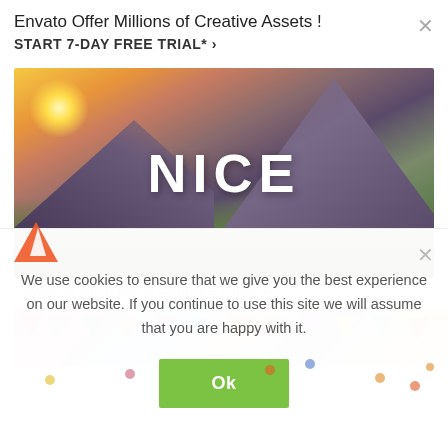Envato Offer Millions of Creative Assets !
START 7-DAY FREE TRIAL* ›
[Figure (photo): Landscape photo with mountain silhouettes, grassy foreground, sunrise/sunset sky with warm orange and yellow tones, and the word NICE overlaid in large white bold text]
Download Short Photo Opener – Videohive
[Figure (illustration): Colorful confetti banner strip with multicolored triangles/pennants on a pink/pastel gradient background]
We use cookies to ensure that we give you the best experience on our website. If you continue to use this site we will assume that you are happy with it.
Ok